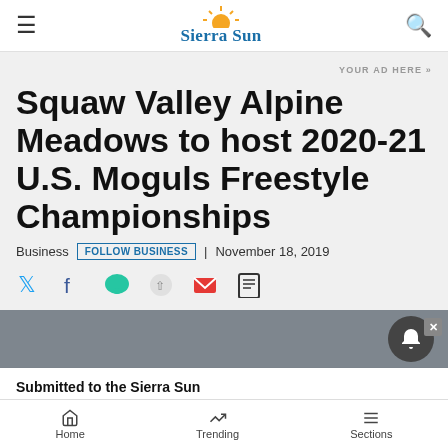Sierra Sun
YOUR AD HERE »
Squaw Valley Alpine Meadows to host 2020-21 U.S. Moguls Freestyle Championships
Business | FOLLOW BUSINESS | November 18, 2019
[Figure (other): Social share icons: Twitter, Facebook, chat/comment, share, email, print]
[Figure (other): Notification overlay with bell icon and close button]
Submitted to the Sierra Sun
Home | Trending | Sections